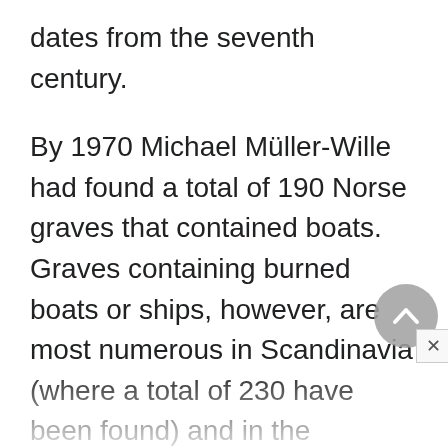dates from the seventh century.
By 1970 Michael Müller-Wille had found a total of 190 Norse graves that contained boats. Graves containing burned boats or ships, however, are most numerous in Scandinavia (where a total of 230 have been found) and in the territories colonized by Norsemen, for example, in Knoc y Doonee, Parish of Andreas, and Balladoolee, Parish of Arbory, on the Isle of Man, and on Colonsay in the Hebrides. Evidence